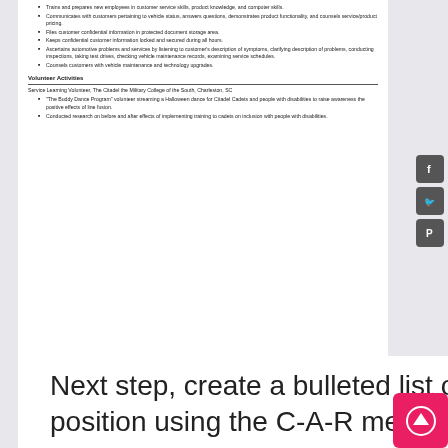Trains and prepares new employees in customer service skills, product knowledge, and computer skills.
Communicates with customers pertaining to vehicle status, answers questions, demonstrates product functionality, and counsels service/product pricing.
Files customer confidential information in protected document storage area.
Keeps confidential customer information locked and secured during all hours.
Ascertains automotive problems and services by listening to customer's description of symptoms, clarifying description of problems, conducting inspections, taking test drives, checking vehicle maintenance records, examining service schedules.
Counsels customers with vehicle maintenance and technology upgrades.
Volunteer Activities
Service Learning Volunteer, The Citadel the Military College of the South, Charleston, SC
"The Buddy Dance Program" volunteer streaming a Halloween dance for Citadel Cadets and people with disabilities to raise awareness the positive effects of line fusion.
Conducted research on before and after effects of implementing training to cadets on inclusion with people with disabilities.
Next step, create a bulleted list of accomplishments in each position using the C-A-R method. For each bullet,